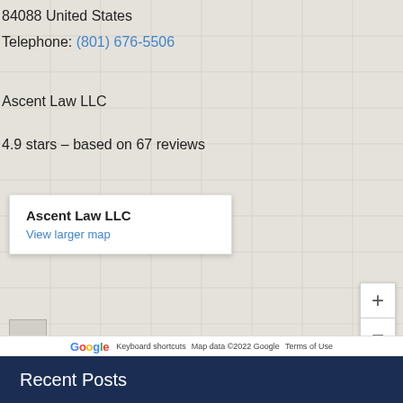84088 United States
Telephone: (801) 676-5506
Ascent Law LLC
4.9 stars – based on 67 reviews
[Figure (map): Google Maps embed showing location of Ascent Law LLC with popup card displaying business name and View larger map link, zoom controls, and Google branding footer with Keyboard shortcuts, Map data ©2022 Google, Terms of Use]
Recent Posts